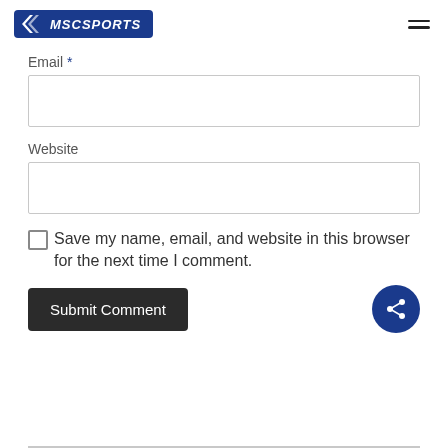mSCSPORTS
Email *
Website
Save my name, email, and website in this browser for the next time I comment.
Submit Comment